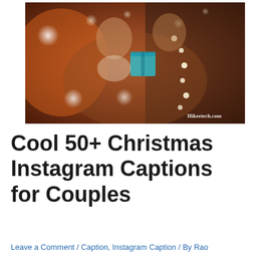[Figure (photo): A couple smiling and looking at a teal gift box together, surrounded by bokeh string lights. Watermark reads Hikeetech.com in bottom right corner.]
Cool 50+ Christmas Instagram Captions for Couples
Leave a Comment / Caption, Instagram Caption / By Rao